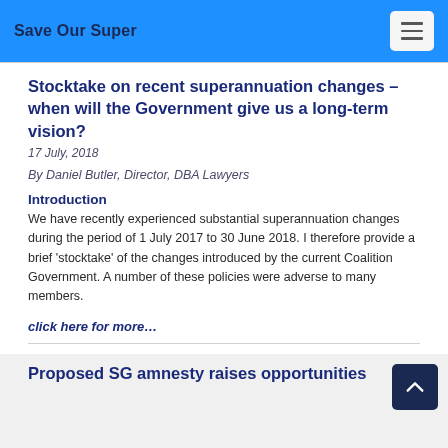Save Our Super
Stocktake on recent superannuation changes – when will the Government give us a long-term vision?
17 July, 2018
By Daniel Butler, Director, DBA Lawyers
Introduction
We have recently experienced substantial superannuation changes during the period of 1 July 2017 to 30 June 2018. I therefore provide a brief 'stocktake' of the changes introduced by the current Coalition Government. A number of these policies were adverse to many members.
click here for more…
Proposed SG amnesty raises opportunities